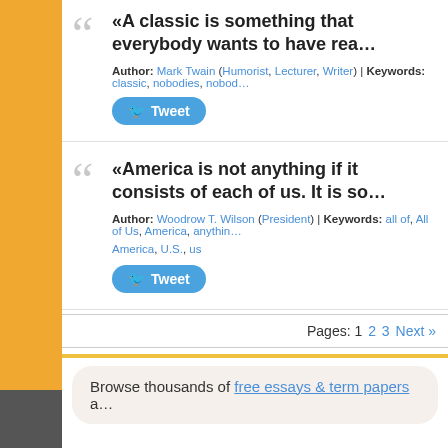«A classic is something that everybody wants to have rea…
Author: Mark Twain (Humorist, Lecturer, Writer) | Keywords: classic, nobodies, nobod…
Tweet
«America is not anything if it consists of each of us. It is so…
Author: Woodrow T. Wilson (President) | Keywords: all of, All of Us, America, anythin… America, U.S., us
Tweet
Pages: 1 2 3 Next »
Browse thousands of free essays & term papers a…